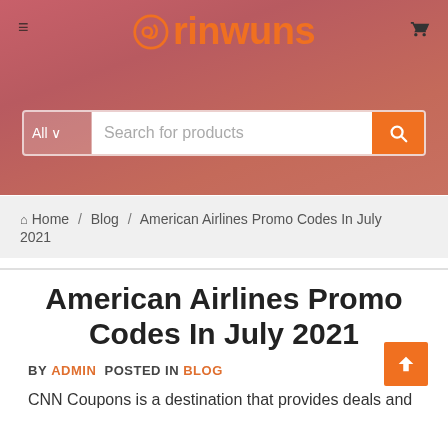[Figure (logo): Orinwuns website logo with orange circular icon and orange text on pinkish-red gradient banner header]
Search for products
Home / Blog / American Airlines Promo Codes In July 2021
American Airlines Promo Codes In July 2021
BY ADMIN POSTED IN BLOG
CNN Coupons is a destination that provides deals and